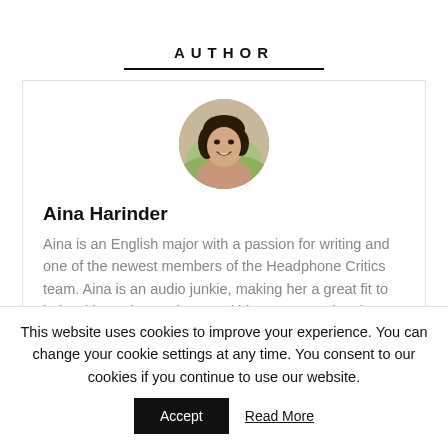AUTHOR
[Figure (photo): Circular profile photo of Aina Harinder, a young woman with dark hair, smiling, outdoors background]
Aina Harinder
Aina is an English major with a passion for writing and one of the newest members of the Headphone Critics team. Aina is an audio junkie, making her a great fit to help with product reviews and blog posts on the site.
This website uses cookies to improve your experience. You can change your cookie settings at any time. You consent to our cookies if you continue to use our website.